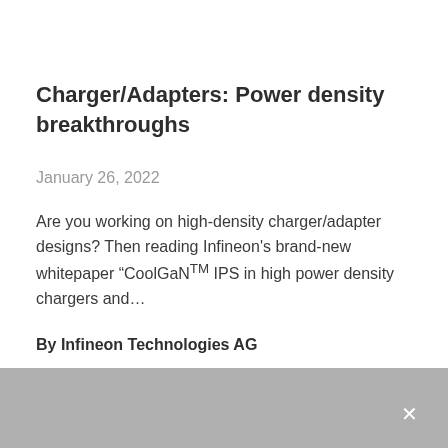Charger/Adapters: Power density breakthroughs
January 26, 2022
Are you working on high-density charger/adapter designs? Then reading Infineon's brand-new whitepaper “CoolGaN™ IPS in high power density chargers and…
By Infineon Technologies AG